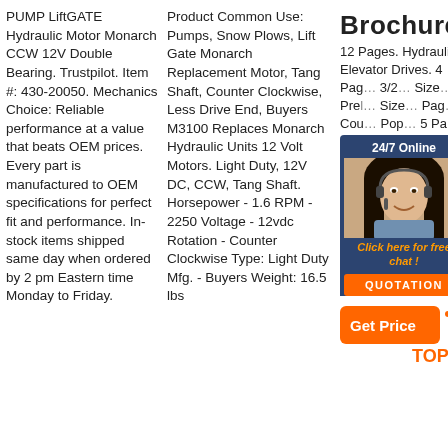PUMP LiftGATE Hydraulic Motor Monarch CCW 12V Double Bearing. Trustpilot. Item #: 430-20050. Mechanics Choice: Reliable performance at a value that beats OEM prices. Every part is manufactured to OEM specifications for perfect fit and performance. In-stock items shipped same day when ordered by 2 pm Eastern time Monday to Friday.
Product Common Use: Pumps, Snow Plows, Lift Gate Monarch Replacement Motor, Tang Shaft, Counter Clockwise, Less Drive End, Buyers M3100 Replaces Monarch Hydraulic Units 12 Volt Motors. Light Duty, 12V DC, CCW, Tang Shaft. Horsepower - 1.6 RPM - 2250 Voltage - 12vdc Rotation - Counter Clockwise Type: Light Duty Mfg. - Buyers Weight: 16.5 lbs
Brochures
12 Pages. Hydraulic Elevator Drives. 4 Pages. 3/2... Size... Preliminary Size... Pages. Counter Clockwise Popular... 5 Pages.
[Figure (photo): Customer service agent woman with headset smiling, overlaid with 24/7 Online chat box and QUOTATION button]
[Figure (infographic): Get Price orange button with TOP badge and decorative dots]